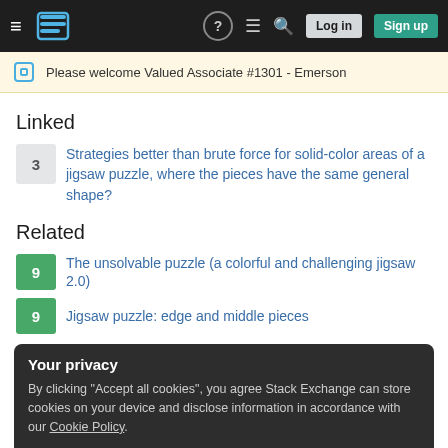Stack Exchange navigation bar with Log in and Sign up buttons
Please welcome Valued Associate #1301 - Emerson
Linked
3 — Strategies better than brute force for solid-color areas of a jigsaw puzzle, where the pieces have the same general shape?
Related
9 — The unsolvable puzzle (a colorful and challenging jigsaw 2.0)
9 — Jigsaw puzzle: edge and middle pieces
Your privacy
By clicking "Accept all cookies", you agree Stack Exchange can store cookies on your device and disclose information in accordance with our Cookie Policy.
Accept all cookies   Customize settings
7 — Inferrence strategies for hidden pieces on a chessboard